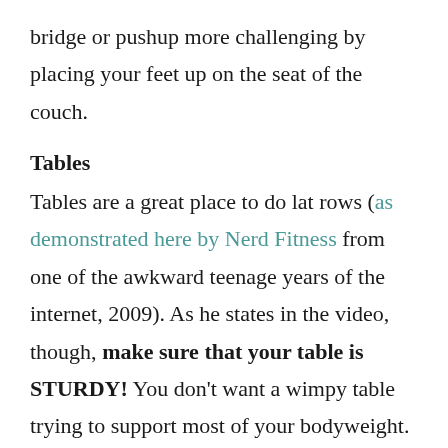bridge or pushup more challenging by placing your feet up on the seat of the couch.
Tables
Tables are a great place to do lat rows (as demonstrated here by Nerd Fitness from one of the awkward teenage years of the internet, 2009). As he states in the video, though, make sure that your table is STURDY! You don't want a wimpy table trying to support most of your bodyweight. You can also use a table for assistance with leg exercises such as squats or